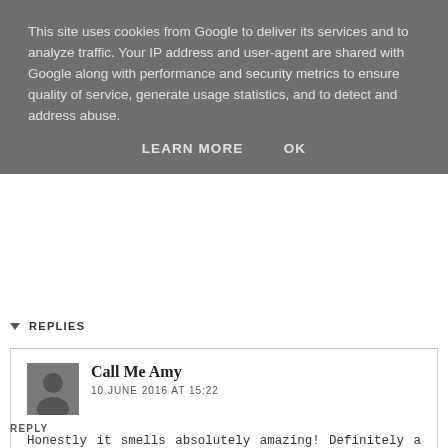This site uses cookies from Google to deliver its services and to analyze traffic. Your IP address and user-agent are shared with Google along with performance and security metrics to ensure quality of service, generate usage statistics, and to detect and address abuse.
LEARN MORE    OK
REPLIES
Call Me Amy
10 JUNE 2016 AT 15:22
Honestly it smells absolutely amazing! Definitely a repurchase! x
REPLY